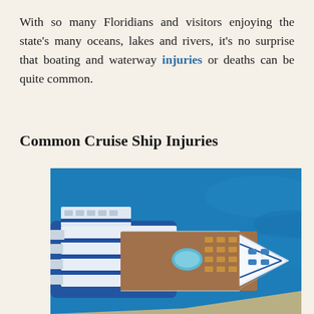With so many Floridians and visitors enjoying the state's many oceans, lakes and rivers, it's no surprise that boating and waterway injuries or deaths can be quite common.
Common Cruise Ship Injuries
[Figure (photo): Aerial top-down view of a large white and blue cruise ship docked near a sandy shore, surrounded by deep blue ocean water.]